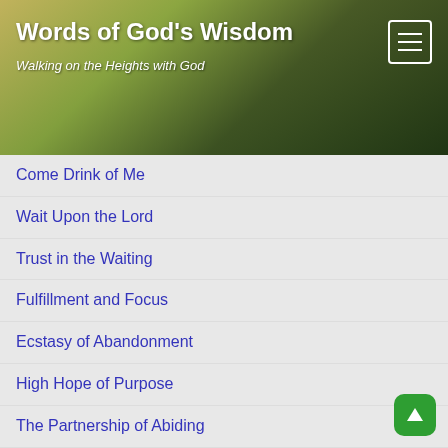Words of God's Wisdom — Walking on the Heights with God
Come Drink of Me
Wait Upon the Lord
Trust in the Waiting
Fulfillment and Focus
Ecstasy of Abandonment
High Hope of Purpose
The Partnership of Abiding
Importance of Purpose
Looking to Him
Let Go the Muck Rake
Be Awake with Me
An Unexpected Encounter
Revealing Hidden Matters